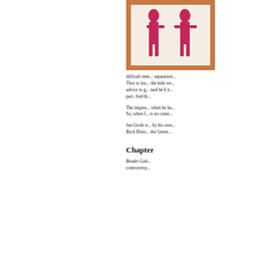[Figure (illustration): Book cover or artwork with dark pink/magenta figures on a cream background with an orange/brown border frame]
difficult time... separation... Thor to loo... the kids we... advice to g... said he'd n... part. And th...
The inspira... when he ha... So, when I... is no const...
Jan Groth w... by his own... Rock Histo... the Green ...
Chapter
Broder Gab... controversy...